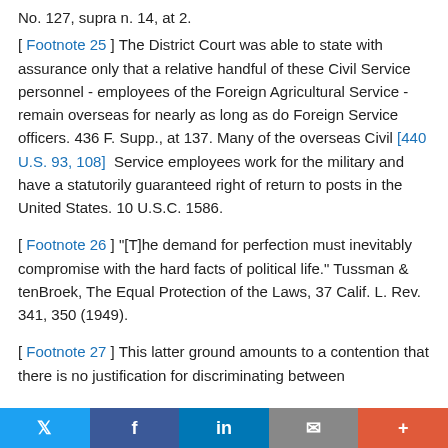No. 127, supra n. 14, at 2.
[ Footnote 25 ] The District Court was able to state with assurance only that a relative handful of these Civil Service personnel - employees of the Foreign Agricultural Service - remain overseas for nearly as long as do Foreign Service officers. 436 F. Supp., at 137. Many of the overseas Civil [440 U.S. 93, 108]  Service employees work for the military and have a statutorily guaranteed right of return to posts in the United States. 10 U.S.C. 1586.
[ Footnote 26 ] "[T]he demand for perfection must inevitably compromise with the hard facts of political life." Tussman & tenBroek, The Equal Protection of the Laws, 37 Calif. L. Rev. 341, 350 (1949).
[ Footnote 27 ] This latter ground amounts to a contention that there is no justification for discriminating between